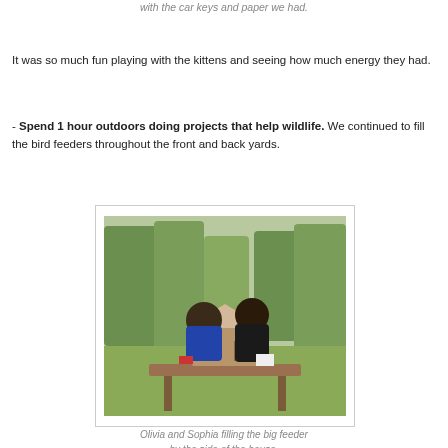with the car keys and paper we had.
It was so much fun playing with the kittens and seeing how much energy they had.
- Spend 1 hour outdoors doing projects that help wildlife. We continued to fill the bird feeders throughout the front and back yards.
[Figure (photo): Two children leaning over a wooden bird feeder on a table outdoors in a grassy yard with trees in background]
Olivia and Sophia filling the big feeder by the side of the house.